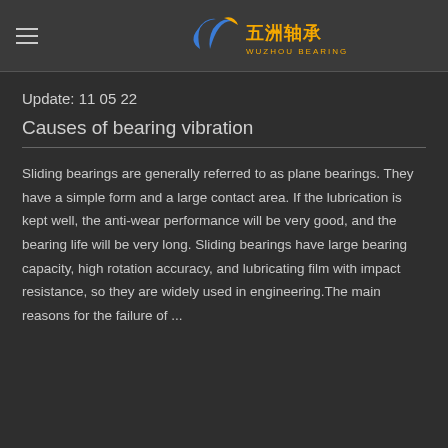五洲轴承 WUZHOU BEARING
Update: 11 05 22
Causes of bearing vibration
Sliding bearings are generally referred to as plane bearings. They have a simple form and a large contact area. If the lubrication is kept well, the anti-wear performance will be very good, and the bearing life will be very long. Sliding bearings have large bearing capacity, high rotation accuracy, and lubricating film with impact resistance, so they are widely used in engineering.The main reasons for the failure of ...